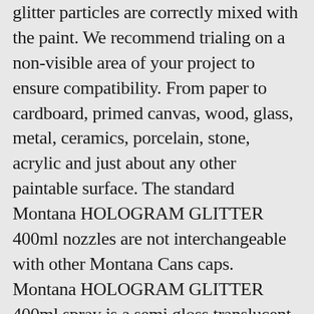glitter particles are correctly mixed with the paint. We recommend trialing on a non-visible area of your project to ensure compatibility. From paper to cardboard, primed canvas, wood, glass, metal, ceramics, porcelain, stone, acrylic and just about any other paintable surface. The standard Montana HOLOGRAM GLITTER 400ml nozzles are not interchangeable with other Montana Cans caps. Montana HOLOGRAM GLITTER 400ml spray is a semi gloss translucent paint vehicle carrying a high quality fine holographic glitter particles. The famous Montana GOLD is known and appreciated for it's wide color range... Montana Cans offers a wide variety of speciality Marker & Inks for all purposes. 60 min. Montana HOLOGRAM GLITTER 400ml can be applied to paper, cardboard, primed canvas, wood, glass, metal, ceramics, ceramics, porcelain, stone, acrylic and just about any other paintable materials. MONTANA-CANS | Copyright © 2021 | all rights reserved. At 20°C, Montana HOLOGRAM